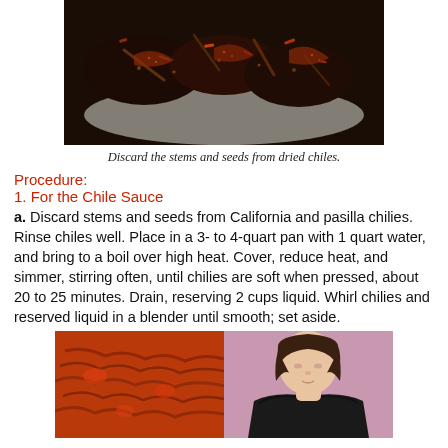[Figure (photo): Close-up photo of dried chiles with discarded stems and seeds on a plate, dark roasted appearance.]
Discard the stems and seeds from dried chiles.
Procedure:
1. For the Chile Sauce
a. Discard stems and seeds from California and pasilla chilies. Rinse chiles well. Place in a 3- to 4-quart pan with 1 quart water, and bring to a boil over high heat. Cover, reduce heat, and simmer, stirring often, until chilies are soft when pressed, about 20 to 25 minutes. Drain, reserving 2 cups liquid. Whirl chilies and reserved liquid in a blender until smooth; set aside.
[Figure (photo): Two side-by-side photos: left shows shredded meat in red sauce, right shows a woman in a black top looking down.]